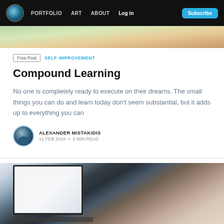PORTFOLIO  ART  ABOUT  Log in  Subscribe
[Figure (photo): Partial hero image at top of page, colorful blurred photo]
Free Post  SELF IMPROVEMENT
Compound Learning
No one is completely ready to execute on their dreams. The small things you can do and learn today don't seem substantial, but it adds up to everything you can
ALEXANDER MISTAKIDIS
11 FEB 2018 • 2 MIN READ
[Figure (photo): Photo of a person typing on a laptop, viewed from the side, with another screen in the background]